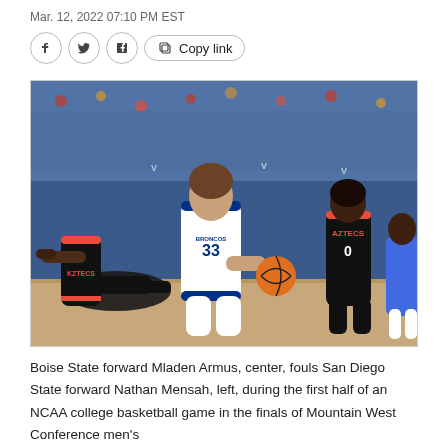Mar. 12, 2022 07:10 PM EST
[Figure (photo): Boise State forward Mladen Armus in white uniform driving with basketball past a falling San Diego State defender in black Aztecs uniform, with another Aztecs player (number 0) defending, in front of a packed arena crowd.]
Boise State forward Mladen Armus, center, fouls San Diego State forward Nathan Mensah, left, during the first half of an NCAA college basketball game in the finals of Mountain West Conference men's